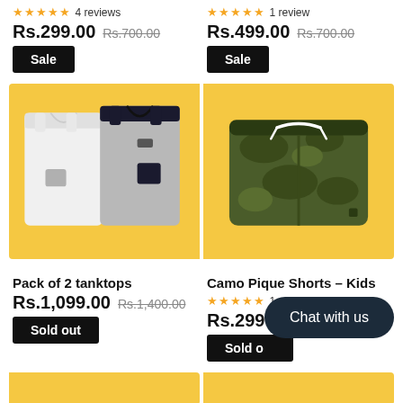★★★★★ 4 reviews
Rs.299.00  Rs.700.00
Sale
★★★★★ 1 review
Rs.499.00  Rs.700.00
Sale
[Figure (photo): Two children tank tops on yellow background - one white with grey pocket, one grey with black trim and black pocket]
[Figure (photo): Camo pique shorts (kids) - olive green camouflage shorts with white drawstring, on yellow background]
Pack of 2 tanktops
Rs.1,099.00  Rs.1,400.00
Sold out
Camo Pique Shorts - Kids
★★★★★ 1 review
Rs.299...
Sold o...
Chat with us